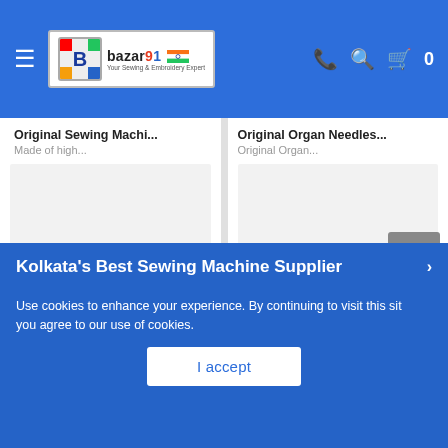bazar91 - Your Sewing & Embroidery Expert
Original Sewing Machi...
Made of high...
Original Organ Needles...
Original Organ...
[Figure (screenshot): Two product cards: Original Sewing Machine and Original Organ Needles with placeholder images, and a next arrow button]
Blog
Home
Kolkata's Best Sewing Machine Supplier
Use cookies to enhance your experience. By continuing to visit this site you agree to our use of cookies.
I accept